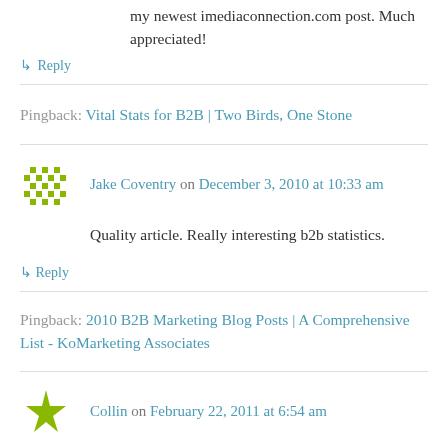my newest imediaconnection.com post. Much appreciated!
↳ Reply
Pingback: Vital Stats for B2B | Two Birds, One Stone
Jake Coventry on December 3, 2010 at 10:33 am
Quality article. Really interesting b2b statistics.
↳ Reply
Pingback: 2010 B2B Marketing Blog Posts | A Comprehensive List - KoMarketing Associates
Collin on February 22, 2011 at 6:54 am